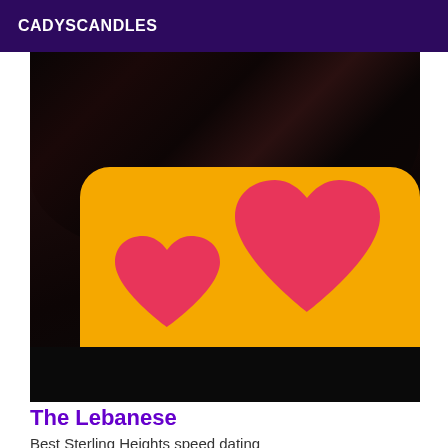CADYSCANDLES
[Figure (photo): Person lying down with long dark hair, photo partially obscured by heart-shaped emoji overlays on a yellow/orange background, with a black bar at the bottom of the image]
The Lebanese
Best Sterling Heights speed dating
Hi I am rachal of arab origin from lebanon I am 23 years old I will meet you in a warm atmosphere his my lovers